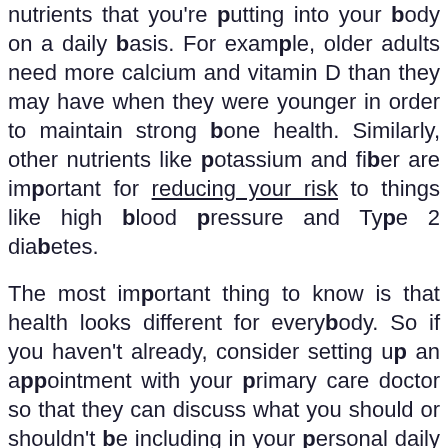nutrients that you're putting into your body on a daily basis. For example, older adults need more calcium and vitamin D than they may have when they were younger in order to maintain strong bone health. Similarly, other nutrients like potassium and fiber are important for reducing your risk to things like high blood pressure and Type 2 diabetes.
The most important thing to know is that health looks different for everybody. So if you haven't already, consider setting up an appointment with your primary care doctor so that they can discuss what you should or shouldn't be including in your personal daily regimen.
2: Be Socially Active
In our lifetimes, we meet so many different people through work or business that bring joy to